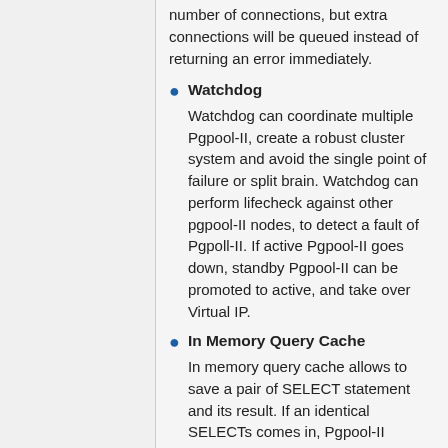number of connections, but extra connections will be queued instead of returning an error immediately.
Watchdog
Watchdog can coordinate multiple Pgpool-II, create a robust cluster system and avoid the single point of failure or split brain. Watchdog can perform lifecheck against other pgpool-II nodes, to detect a fault of Pgpoll-II. If active Pgpool-II goes down, standby Pgpool-II can be promoted to active, and take over Virtual IP.
In Memory Query Cache
In memory query cache allows to save a pair of SELECT statement and its result. If an identical SELECTs comes in, Pgpool-II returns